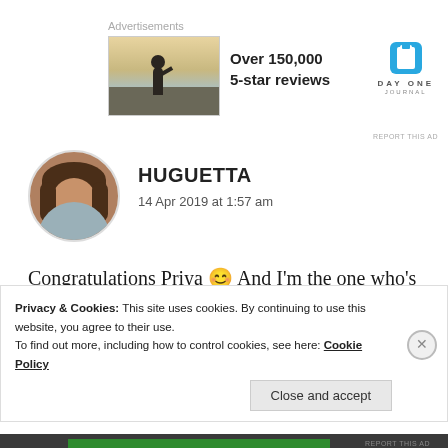Advertisements
[Figure (photo): Advertisement banner showing a person photographing a sunset, with text 'Over 150,000 5-star reviews' and Day One Journal logo]
[Figure (photo): Circular avatar of user Huguetta]
HUGUETTA
14 Apr 2019 at 1:57 am
Congratulations Priya 😊 And I'm the one who's killing awards 🤔😂 It was a funny read! I love food so much and I enjoy it 😊
Privacy & Cookies: This site uses cookies. By continuing to use this website, you agree to their use.
To find out more, including how to control cookies, see here: Cookie Policy
Close and accept